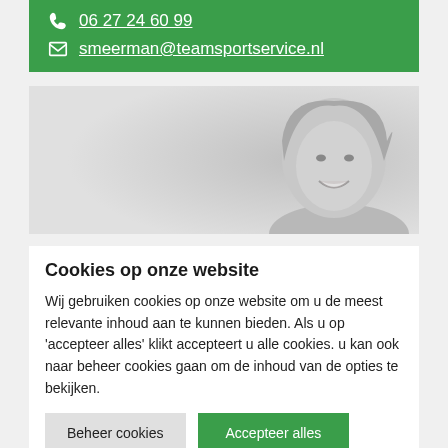06 27 24 60 99
smeerman@teamsportservice.nl
[Figure (photo): Black and white photograph of a smiling middle-aged woman with light hair, cropped to show her face and shoulders against a light grey background.]
Cookies op onze website
Wij gebruiken cookies op onze website om u de meest relevante inhoud aan te kunnen bieden. Als u op 'accepteer alles' klikt accepteert u alle cookies. u kan ook naar beheer cookies gaan om de inhoud van de opties te bekijken.
Beheer cookies
Accepteer alles